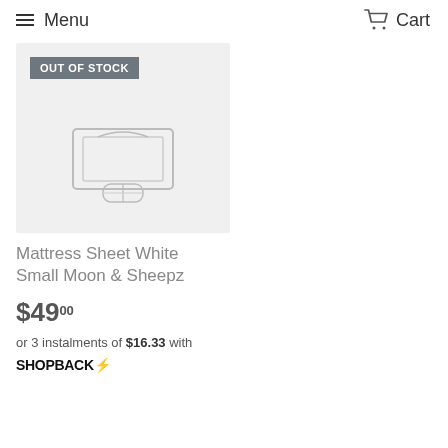Menu  Cart
[Figure (photo): Product image of Mattress Sheet with OUT OF STOCK badge overlay, light gray background]
Mattress Sheet White Small Moon & Sheepz
$49.00
or 3 instalments of $16.33 with SHOPBACK